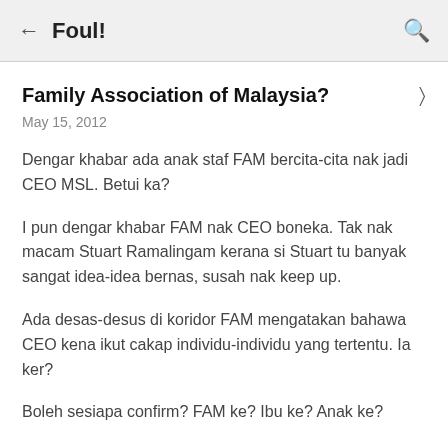← Foul!
Family Association of Malaysia?
May 15, 2012
Dengar khabar ada anak staf FAM bercita-cita nak jadi CEO MSL. Betui ka?
I pun dengar khabar FAM nak CEO boneka. Tak nak macam Stuart Ramalingam kerana si Stuart tu banyak sangat idea-idea bernas, susah nak keep up.
Ada desas-desus di koridor FAM mengatakan bahawa CEO kena ikut cakap individu-individu yang tertentu. Ia ker?
Boleh sesiapa confirm? FAM ke? Ibu ke? Anak ke?